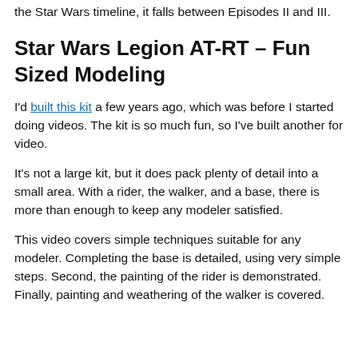the Star Wars timeline, it falls between Episodes II and III.
Star Wars Legion AT-RT – Fun Sized Modeling
I'd built this kit a few years ago, which was before I started doing videos. The kit is so much fun, so I've built another for video.
It's not a large kit, but it does pack plenty of detail into a small area. With a rider, the walker, and a base, there is more than enough to keep any modeler satisfied.
This video covers simple techniques suitable for any modeler. Completing the base is detailed, using very simple steps. Second, the painting of the rider is demonstrated. Finally, painting and weathering of the walker is covered.